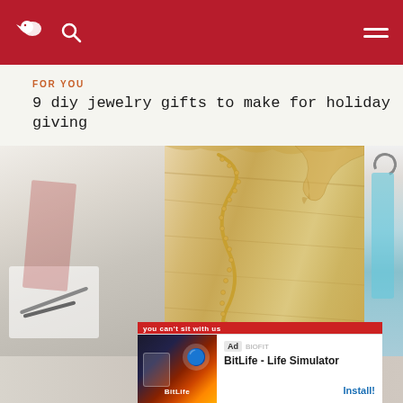Navigation bar with bird logo, search icon, and hamburger menu
FOR YOU
9 diy jewelry gifts to make for holiday giving
[Figure (photo): A carousel of images showing DIY jewelry: left partial image of crafting supplies, center image of a gold chain necklace on wood surface, right partial image of teal earrings on hooks]
[Figure (photo): Ad banner for BitLife - Life Simulator app with red game art and Install button]